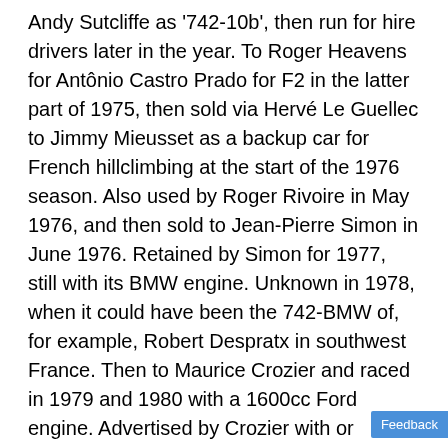Andy Sutcliffe as '742-10b', then run for hire drivers later in the year. To Roger Heavens for Antônio Castro Prado for F2 in the latter part of 1975, then sold via Hervé Le Guellec to Jimmy Mieusset as a backup car for French hillclimbing at the start of the 1976 season. Also used by Roger Rivoire in May 1976, and then sold to Jean-Pierre Simon in June 1976. Retained by Simon for 1977, still with its BMW engine. Unknown in 1978, when it could have been the 742-BMW of, for example, Robert Despratx in southwest France. Then to Maurice Crozier and raced in 1979 and 1980 with a 1600cc Ford engine. Advertised by Crozier with or without its 1600cc Cosworth FVA engine in November 1980. It was next seen with Michel Goutarel, who raced it in courses de côte in the Lyon area in 1981 and 1982. Goutarel appears to have kept this car for some time, as he is noted